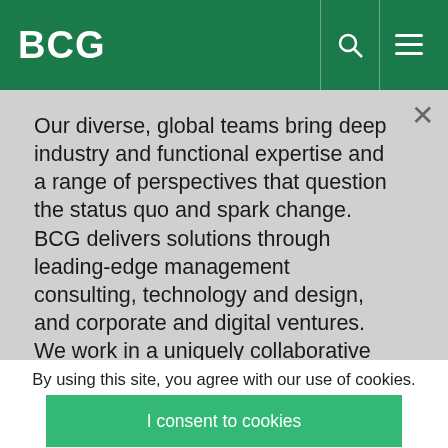BCG
Our diverse, global teams bring deep industry and functional expertise and a range of perspectives that question the status quo and spark change. BCG delivers solutions through leading-edge management consulting, technology and design, and corporate and digital ventures. We work in a uniquely collaborative model across the firm and throughout all levels of the client organization, fueled by the goal of helping our clients thrive and enabling them
By using this site, you agree with our use of cookies.
I consent to cookies
Want to know more?
Read our Cookie Policy